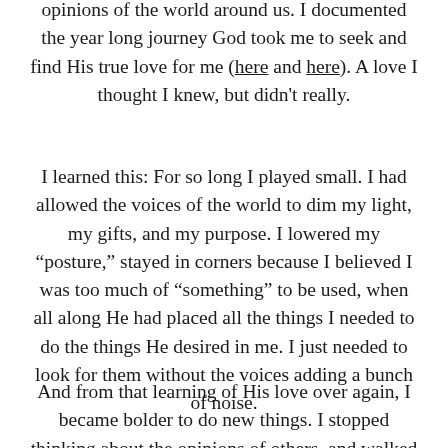opinions of the world around us. I documented the year long journey God took me to seek and find His true love for me (here and here). A love I thought I knew, but didn't really.
I learned this: For so long I played small. I had allowed the voices of the world to dim my light, my gifts, and my purpose. I lowered my "posture," stayed in corners because I believed I was too much of "something" to be used, when all along He had placed all the things I needed to do the things He desired in me. I just needed to look for them without the voices adding a bunch of noise.
And from that learning of His love over again, I became bolder to do new things. I stopped thinking about the opinions of others, and walked